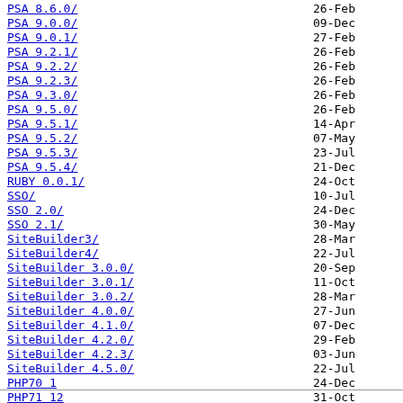PSA 8.6.0/	26-Feb
PSA 9.0.0/	09-Dec
PSA 9.0.1/	27-Feb
PSA 9.2.1/	26-Feb
PSA 9.2.2/	26-Feb
PSA 9.2.3/	26-Feb
PSA 9.3.0/	26-Feb
PSA 9.5.0/	26-Feb
PSA 9.5.1/	14-Apr
PSA 9.5.2/	07-May
PSA 9.5.3/	23-Jul
PSA 9.5.4/	21-Dec
RUBY 0.0.1/	24-Oct
SSO/	10-Jul
SSO 2.0/	24-Dec
SSO 2.1/	30-May
SiteBuilder3/	28-Mar
SiteBuilder4/	22-Jul
SiteBuilder 3.0.0/	20-Sep
SiteBuilder 3.0.1/	11-Oct
SiteBuilder 3.0.2/	28-Mar
SiteBuilder 4.0.0/	27-Jun
SiteBuilder 4.1.0/	07-Dec
SiteBuilder 4.2.0/	29-Feb
SiteBuilder 4.2.3/	03-Jun
SiteBuilder 4.5.0/	22-Jul
PHP70 1	24-Dec
PHP71 12	31-Oct